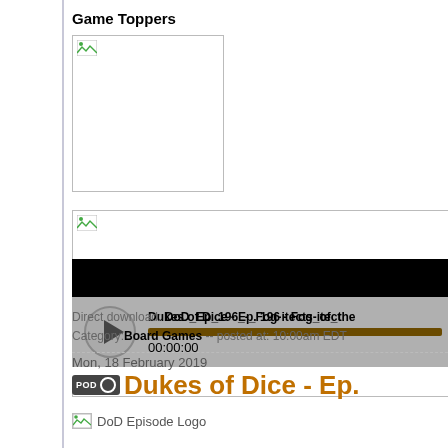Game Toppers
[Figure (photo): Broken image placeholder (first game topper image)]
[Figure (photo): Broken image placeholder (second game topper image)]
[Figure (other): Audio player for Dukes of Dice - Ep. 196 - Fog-itects of the... showing black header bar, play button, progress bar at 00:00:00]
Direct download: DoD_Ep_196_-_Fog-itects_of_the... Category: Board Games -- posted at: 10:00am EDT
Mon, 18 February 2019
Dukes of Dice - Ep.
DoD Episode Logo